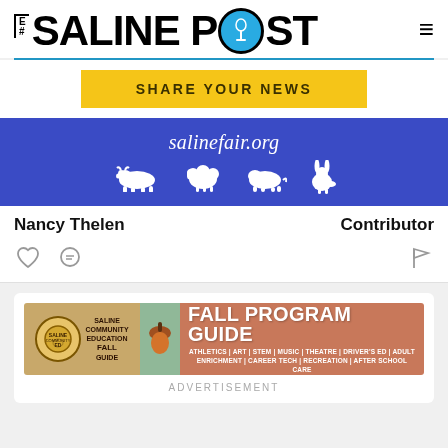THE SALINE POST
[Figure (illustration): Yellow Share Your News button]
[Figure (photo): Blue banner image showing salinefair.org with white animal silhouettes (cow, sheep, pig, rabbit)]
Nancy Thelen
Contributor
[Figure (illustration): Action icons: heart (like), comment bubble, flag]
[Figure (illustration): Advertisement banner: Saline Community Education Fall Program Guide - Athletics, Art, STEM, Music, Theatre, Driver's Ed, Adult Enrichment, Career Tech, Recreation, After School Care]
ADVERTISEMENT